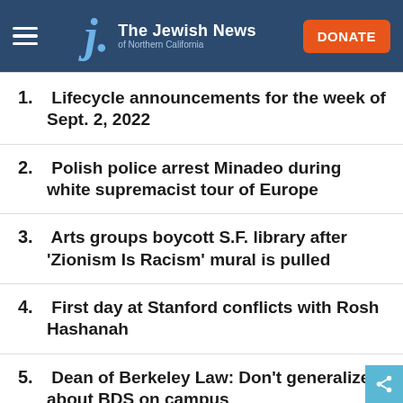The Jewish News of Northern California
1. Lifecycle announcements for the week of Sept. 2, 2022
2. Polish police arrest Minadeo during white supremacist tour of Europe
3. Arts groups boycott S.F. library after 'Zionism Is Racism' mural is pulled
4. First day at Stanford conflicts with Rosh Hashanah
5. Dean of Berkeley Law: Don't generalize about BDS on campus